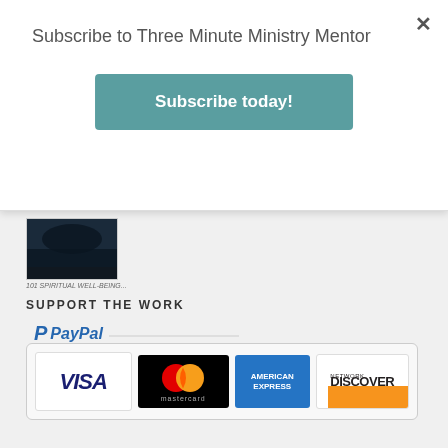Subscribe to Three Minute Ministry Mentor
Subscribe today!
[Figure (photo): Small thumbnail image with dark background and caption about spiritual well-being]
SUPPORT THE WORK
[Figure (logo): PayPal payment widget showing PayPal logo and accepted cards: Visa, Mastercard, American Express, Discover Network]